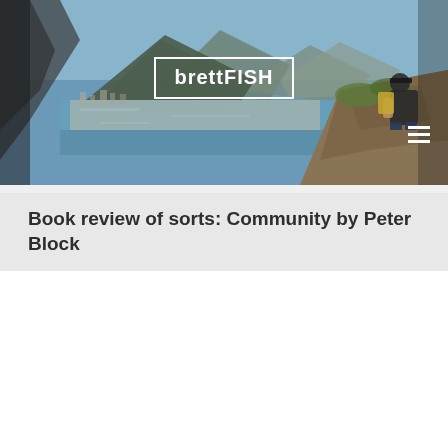[Figure (photo): Banner photo of a mountain and ocean landscape (likely Cape Town, South Africa), with a person sitting on a rock ledge in the foreground on the right side. A white rectangular box with the text 'brettFISH' is overlaid in the center of the image.]
Book review of sorts: Community by Peter Block